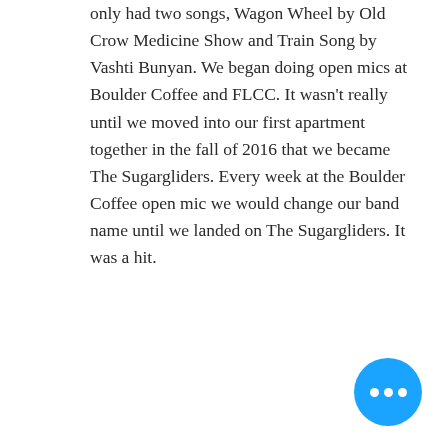only had two songs, Wagon Wheel by Old Crow Medicine Show and Train Song by Vashti Bunyan. We began doing open mics at Boulder Coffee and FLCC. It wasn't really until we moved into our first apartment together in the fall of 2016 that we became The Sugargliders. Every week at the Boulder Coffee open mic we would change our band name until we landed on The Sugargliders. It was a hit.
[Figure (other): Blue circular button with three white dots (ellipsis/more options button) in the bottom-right corner]